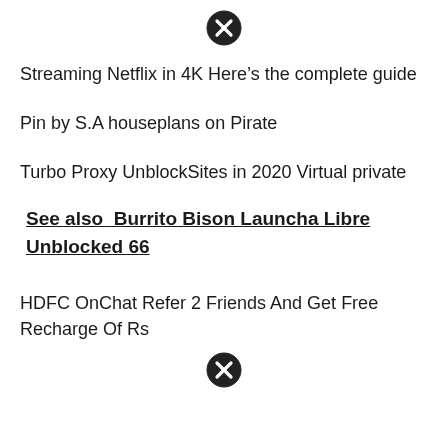[Figure (other): Close/cancel icon (circle with X) at top center]
Streaming Netflix in 4K Here’s the complete guide
Pin by S.A houseplans on Pirate
Turbo Proxy UnblockSites in 2020 Virtual private
See also  Burrito Bison Launcha Libre Unblocked 66
HDFC OnChat Refer 2 Friends And Get Free Recharge Of Rs
[Figure (other): Close/cancel icon (circle with X) at bottom center]